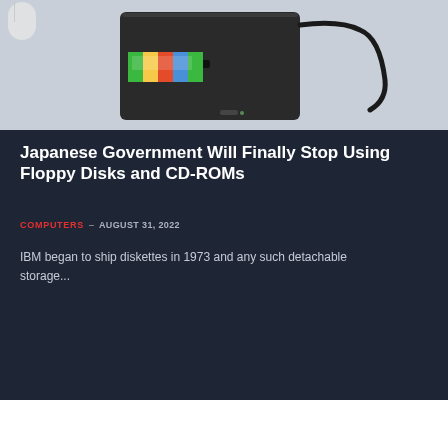[Figure (photo): Photo of a black USB external floppy disk drive with a colorful floppy diskette being inserted, placed on a light gray background with a white mouse partially visible]
Japanese Government Will Finally Stop Using Floppy Disks and CD-ROMs
COMPUTERS – AUGUST 31, 2022
IBM began to ship diskettes in 1973 and any such detachable storage...